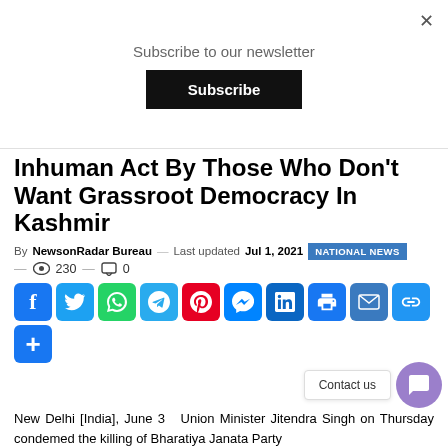Subscribe to our newsletter
Subscribe
Inhuman Act By Those Who Don't Want Grassroot Democracy In Kashmir
By NewsonRadar Bureau — Last updated Jul 1, 2021 NATIONAL NEWS
— 230 — 0
[Figure (infographic): Social sharing buttons: Facebook, Twitter, WhatsApp, Telegram, Pinterest, Messenger, LinkedIn, Print, Email, Link, More]
Contact us
New Delhi [India], June 3 — Union Minister Jitendra Singh on Thursday condemed the killing of Bharatiya Janata Party